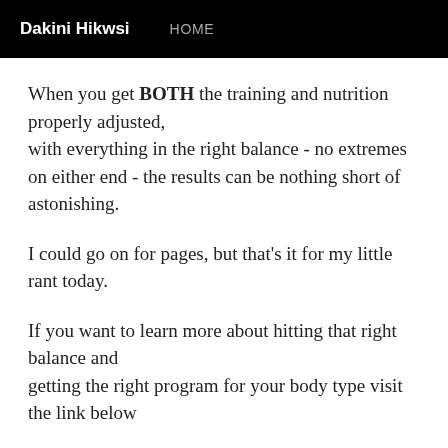Dakini Hikwsi  HOME
When you get BOTH the training and nutrition properly adjusted,
with everything in the right balance - no extremes on either end - the results can be nothing short of astonishing.
I could go on for pages, but that's it for my little rant today.
If you want to learn more about hitting that right balance and
getting the right program for your body type visit the link below